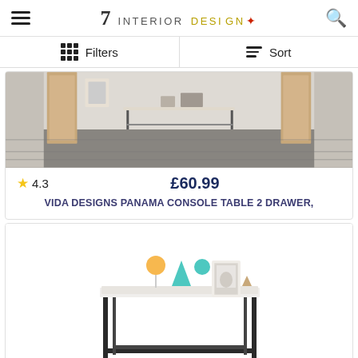7 INTERIOR DESIGN
Filters   Sort
[Figure (photo): Hallway with console table, wooden wall panels, and tiled floor]
★4.3   £60.99
VIDA DESIGNS PANAMA CONSOLE TABLE 2 DRAWER,
[Figure (photo): Modern console table with black metal frame and white top, with decorative items on surface]